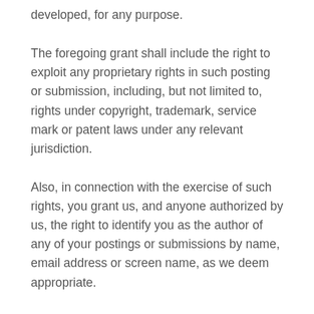developed, for any purpose.
The foregoing grant shall include the right to exploit any proprietary rights in such posting or submission, including, but not limited to, rights under copyright, trademark, service mark or patent laws under any relevant jurisdiction.
Also, in connection with the exercise of such rights, you grant us, and anyone authorized by us, the right to identify you as the author of any of your postings or submissions by name, email address or screen name, as we deem appropriate.